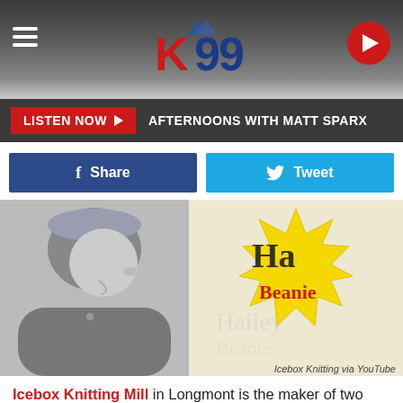K99 Radio — LISTEN NOW ▶ AFTERNOONS WITH MATT SPARX
[Figure (screenshot): K99 radio station logo with mountain background, hamburger menu icon on left, and red circular play button on right]
LISTEN NOW ▶  AFTERNOONS WITH MATT SPARX
[Figure (screenshot): Social share buttons: blue Facebook Share button and cyan Twitter Tweet button]
[Figure (photo): Left: black and white photo of a person wearing a beanie hat, laughing in profile view. Right: yellow starburst graphic with 'Hailey Beanie' text. Caption: Icebox Knitting via YouTube]
Icebox Knitting via YouTube
Icebox Knitting Mill in Longmont is the maker of two very distinct brands of knit headwear and accessories; Dohm Headwear and Xob Upcycled. They both make some very cool hats for when it is cool outside or downright cold. By